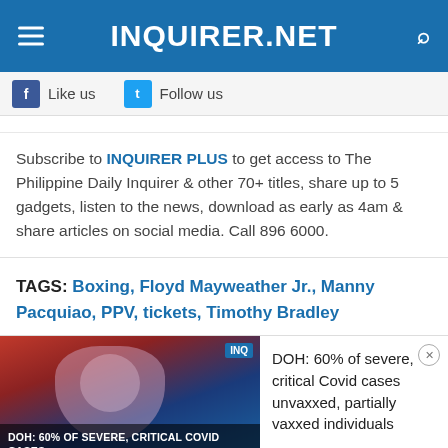INQUIRER.NET
[Figure (screenshot): Facebook Like us and Twitter Follow us social bar]
Subscribe to INQUIRER PLUS to get access to The Philippine Daily Inquirer & other 70+ titles, share up to 5 gadgets, listen to the news, download as early as 4am & share articles on social media. Call 896 6000.
TAGS: Boxing, Floyd Mayweather Jr., Manny Pacquiao, PPV, tickets, Timothy Bradley
[Figure (photo): DOH: 60% of severe, critical Covid cases unvaxxed, partially vaxxed individuals - news thumbnail image]
DOH: 60% of severe, critical Covid cases unvaxxed, partially vaxxed individuals